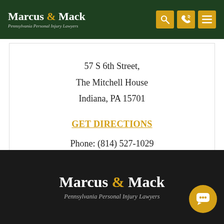Marcus & Mack — Pennsylvania Personal Injury Lawyers
57 S 6th Street,
The Mitchell House
Indiana, PA 15701
GET DIRECTIONS
Phone: (814) 527-1029
Marcus & Mack — Pennsylvania Personal Injury Lawyers